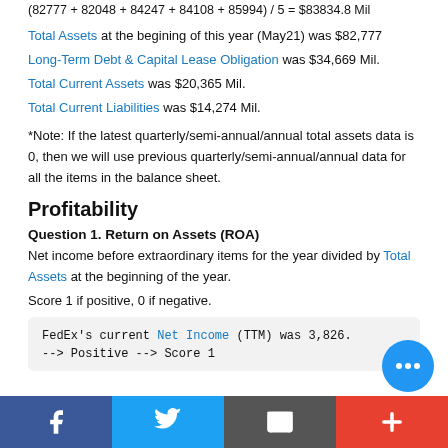Total Assets at the begining of this year (May21) was $82,777
Long-Term Debt & Capital Lease Obligation was $34,669 Mil.
Total Current Assets was $20,365 Mil.
Total Current Liabilities was $14,274 Mil.
*Note: If the latest quarterly/semi-annual/annual total assets data is 0, then we will use previous quarterly/semi-annual/annual data for all the items in the balance sheet.
Profitability
Question 1. Return on Assets (ROA)
Net income before extraordinary items for the year divided by Total Assets at the beginning of the year.
Score 1 if positive, 0 if negative.
FedEx's current Net Income (TTM) was 3,826.
--> Positive --> Score 1